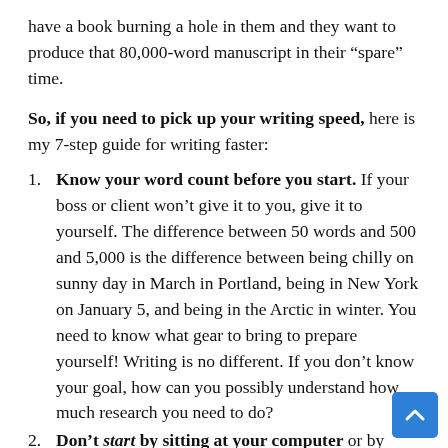have a book burning a hole in them and they want to produce that 80,000-word manuscript in their “spare” time.
So, if you need to pick up your writing speed, here is my 7-step guide for writing faster:
Know your word count before you start. If your boss or client won’t give it to you, give it to yourself. The difference between 50 words and 500 and 5,000 is the difference between being chilly on sunny day in March in Portland, being in New York on January 5, and being in the Arctic in winter. You need to know what gear to bring to prepare yourself! Writing is no different. If you don’t know your goal, how can you possibly understand how much research you need to do?
Don’t start by sitting at your computer or by researching. Instead, begin with thinking. Get away from your desk and do something that keeps you physically busy but your mind free (walking, running,